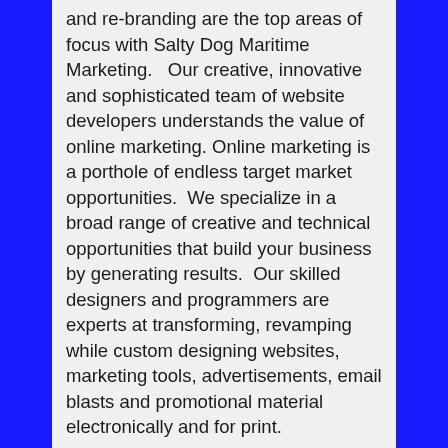and re-branding are the top areas of focus with Salty Dog Maritime Marketing.   Our creative, innovative and sophisticated team of website developers understands the value of online marketing. Online marketing is a porthole of endless target market opportunities.  We specialize in a broad range of creative and technical opportunities that build your business by generating results.  Our skilled designers and programmers are experts at transforming, revamping while custom designing websites, marketing tools, advertisements, email blasts and promotional material electronically and for print.
Our savvy team will meet and exceed the expectations of the worldwide web moment to moment growth patterns that are radically competitive in nature.  We plan to grow your business with the worldwide web and top SEO as vehicle for business growth patterns leading to business results with impact!
Salty Dog Maritime Marketing –  builds marketing tools,